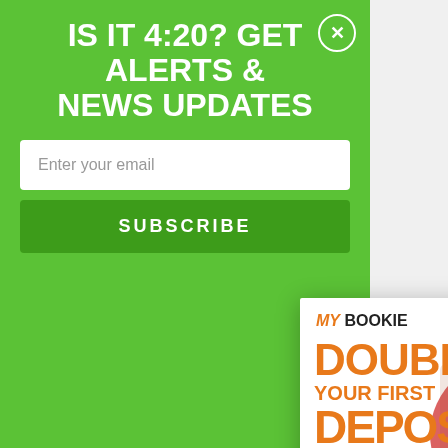IS IT 4:20? GET ALERTS & NEWS UPDATES
Enter your email
SUBSCRIBE
STAY CONNECTED
f  14,451  Fans
G+  268  Followers
Instagram  31,775  Followers
[Figure (screenshot): MyBookie advertisement popup showing 'DOUBLE YOUR FIRST DEPOSIT' in orange text on white background with soccer players, a green BET NOW button, and a close (x) button.]